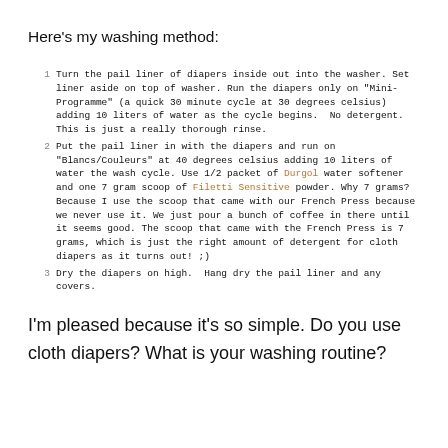Here's my washing method:
Turn the pail liner of diapers inside out into the washer. Set liner aside on top of washer. Run the diapers only on "Mini-Programme" (a quick 30 minute cycle at 30 degrees celsius) adding 10 liters of water as the cycle begins. No detergent. This is just a really thorough rinse.
Put the pail liner in with the diapers and run on "Blancs/Couleurs" at 40 degrees celsius adding 10 liters of water the wash cycle. Use 1/2 packet of Durgol water softener and one 7 gram scoop of Filetti Sensitive powder. Why 7 grams? Because I use the scoop that came with our French Press because we never use it. We just pour a bunch of coffee in there until it seems good. The scoop that came with the French Press is 7 grams, which is just the right amount of detergent for cloth diapers as it turns out! ;)
Dry the diapers on high. Hang dry the pail liner and any covers.
I'm pleased because it's so simple. Do you use cloth diapers? What is your washing routine?